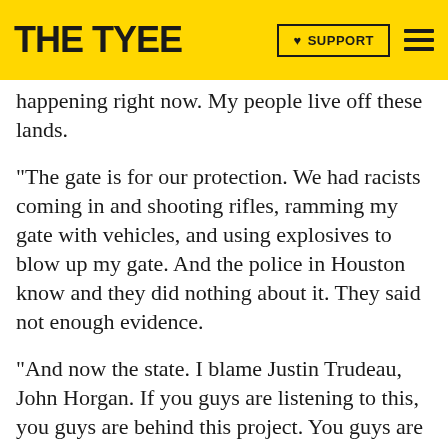THE TYEE | ♥ SUPPORT
happening right now. My people live off these lands.
“The gate is for our protection. We had racists coming in and shooting rifles, ramming my gate with vehicles, and using explosives to blow up my gate. And the police in Houston know and they did nothing about it. They said not enough evidence.
“And now the state. I blame Justin Trudeau, John Horgan. If you guys are listening to this, you guys are behind this project. You guys are behind approving these police to come in and treat me like a criminal. And all I am doing is living on my lands that my clan has title and rights to. You say reconciliation? This is not reconciliation. You’re treating my chiefs and us as criminals. We’re not